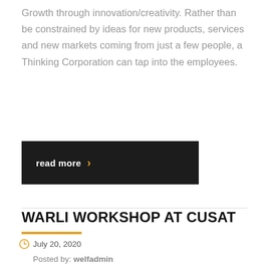Growth through innovation/creativity. Rather than be constrained by ideas for new products, services and new markets coming from just a few people, a Thinking Corporation can tap into the employees.
read more ›
WARLI WORKSHOP AT CUSAT
July 20, 2020
Posted by: welfadmin
Category: news
No Comments